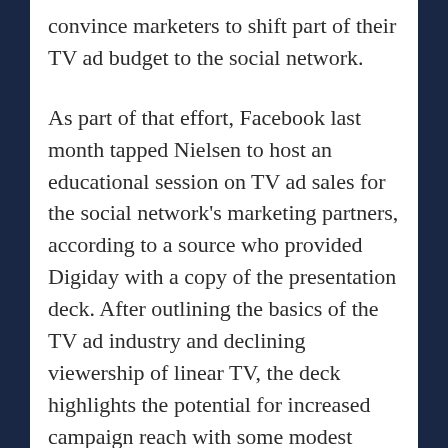convince marketers to shift part of their TV ad budget to the social network.
As part of that effort, Facebook last month tapped Nielsen to host an educational session on TV ad sales for the social network's marketing partners, according to a source who provided Digiday with a copy of the presentation deck. After outlining the basics of the TV ad industry and declining viewership of linear TV, the deck highlights the potential for increased campaign reach with some modest reallocation of TV budgets to